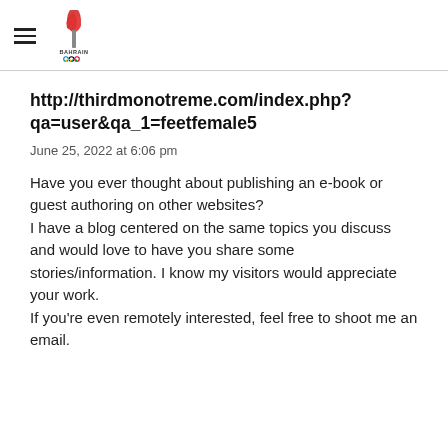Bahrain Olympic Committee logo with hamburger menu
http://thirdmonotreme.com/index.php?qa=user&qa_1=feetfemale5
June 25, 2022 at 6:06 pm
Have you ever thought about publishing an e-book or guest authoring on other websites?
I have a blog centered on the same topics you discuss and would love to have you share some stories/information. I know my visitors would appreciate your work.
If you're even remotely interested, feel free to shoot me an email.